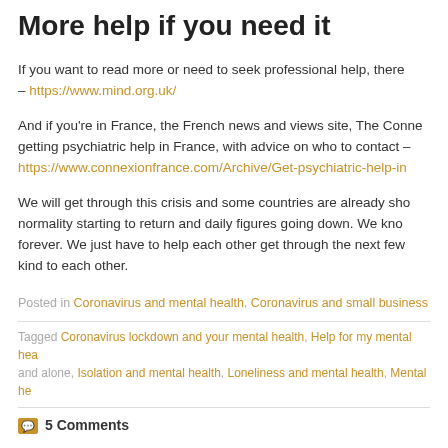More help if you need it
If you want to read more or need to seek professional help, there – https://www.mind.org.uk/
And if you're in France, the French news and views site, The Conne getting psychiatric help in France, with advice on who to contact – https://www.connexionfrance.com/Archive/Get-psychiatric-help-in
We will get through this crisis and some countries are already sho normality starting to return and daily figures going down. We kno forever. We just have to help each other get through the next few kind to each other.
Posted in Coronavirus and mental health, Coronavirus and small business
Tagged Coronavirus lockdown and your mental health, Help for my mental hea and alone, Isolation and mental health, Loneliness and mental health, Mental he
5 Comments